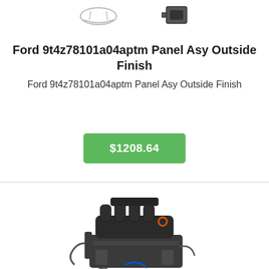[Figure (photo): Two small product thumbnails at top: a panel/trim part and a small black component (camera or clip)]
Ford 9t4z78101a04aptm Panel Asy Outside Finish
Ford 9t4z78101a04aptm Panel Asy Outside Finish
$1208.64
[Figure (photo): Photo of a Ford engine assembly (intake manifold visible, various hoses and components)]